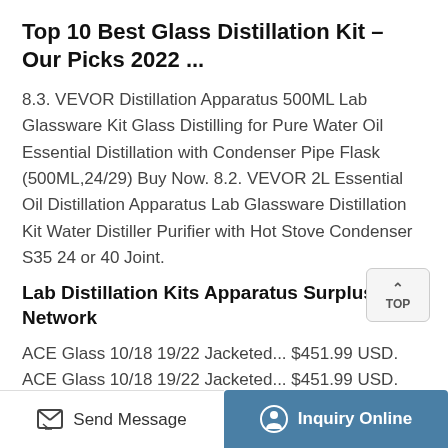Top 10 Best Glass Distillation Kit – Our Picks 2022 ...
8.3. VEVOR Distillation Apparatus 500ML Lab Glassware Kit Glass Distilling for Pure Water Oil Essential Distillation with Condenser Pipe Flask (500ML,24/29) Buy Now. 8.2. VEVOR 2L Essential Oil Distillation Apparatus Lab Glassware Distillation Kit Water Distiller Purifier with Hot Stove Condenser S35 24 or 40 Joint.
Lab Distillation Kits Apparatus Surplus Network
ACE Glass 10/18 19/22 Jacketed... $451.99 USD. ACE Glass 10/18 19/22 Jacketed... $451.99 USD. USA. ... lab1st 10L Short Path Distillation... $6,890.00 USD. USA. 1000ml Distillation Apparatus Glass... $81.99 USD. 1000ml Distillation Apparatus Glass... $81.99
Send Message   Inquiry Online